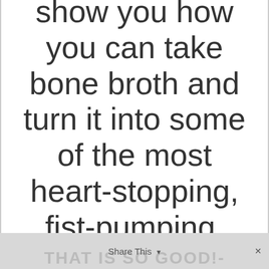show you how you can take bone broth and turn it into some of the most heart-stopping, fist-pumping, jaw-dropping, OMG
THAT IS SO GOOD!- Share This